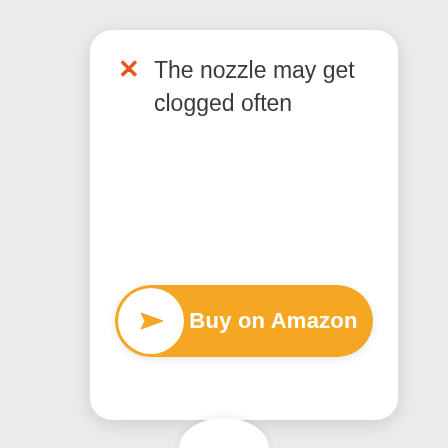The nozzle may get clogged often
[Figure (screenshot): Orange 'Buy on Amazon' button with a white circle containing a paper airplane icon on the left and white text 'Buy on Amazon' on the right]